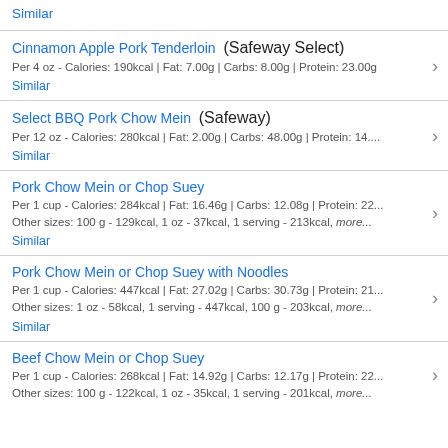Similar
Cinnamon Apple Pork Tenderloin (Safeway Select)
Per 4 oz - Calories: 190kcal | Fat: 7.00g | Carbs: 8.00g | Protein: 23.00g
Similar
Select BBQ Pork Chow Mein (Safeway)
Per 12 oz - Calories: 280kcal | Fat: 2.00g | Carbs: 48.00g | Protein: 14....
Similar
Pork Chow Mein or Chop Suey
Per 1 cup - Calories: 284kcal | Fat: 16.46g | Carbs: 12.08g | Protein: 22...
Other sizes: 100 g - 129kcal, 1 oz - 37kcal, 1 serving - 213kcal, more...
Similar
Pork Chow Mein or Chop Suey with Noodles
Per 1 cup - Calories: 447kcal | Fat: 27.02g | Carbs: 30.73g | Protein: 21...
Other sizes: 1 oz - 58kcal, 1 serving - 447kcal, 100 g - 203kcal, more...
Similar
Beef Chow Mein or Chop Suey
Per 1 cup - Calories: 268kcal | Fat: 14.92g | Carbs: 12.17g | Protein: 22...
Other sizes: 100 g - 122kcal, 1 oz - 35kcal, 1 serving - 201kcal, more...